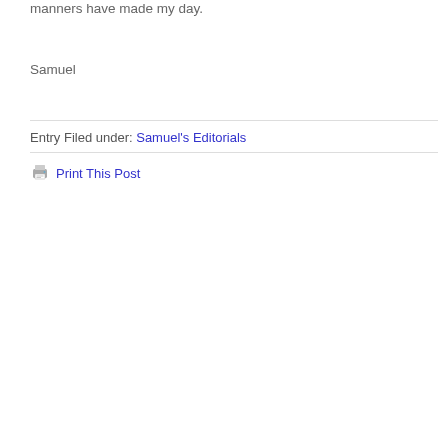manners have made my day.
Samuel
Entry Filed under: Samuel's Editorials
[Figure (other): Printer icon next to Print This Post link]
Print This Post